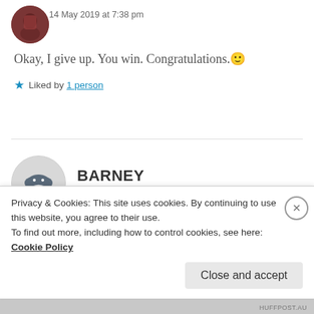14 May 2019 at 7:38 pm
Okay, I give up. You win. Congratulations. 🙂
★ Liked by 1 person
BARNEY
14 May 2019 at 7:38 pm
Saw this coming
Privacy & Cookies: This site uses cookies. By continuing to use this website, you agree to their use.
To find out more, including how to control cookies, see here: Cookie Policy
Close and accept